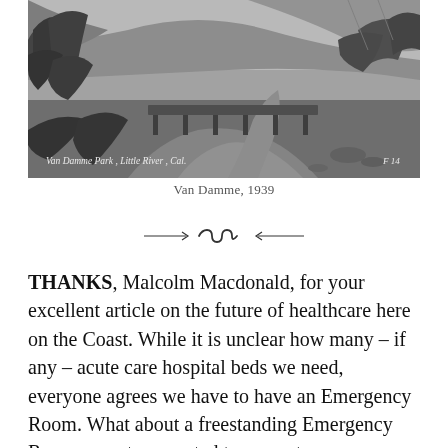[Figure (photo): Black and white panoramic photograph of Van Damme Park, Little River, California. Shows a bridge over a river surrounded by trees and brush, with hills in the background. Caption in lower left reads 'Van Damme Park, Little River, Cal.' and 'F 14' in lower right.]
Van Damme, 1939
[Figure (illustration): Decorative divider ornament with scrollwork design]
THANKS, Malcolm Macdonald, for your excellent article on the future of healthcare here on the Coast. While it is unclear how many – if any – acute care hospital beds we need, everyone agrees we have to have an Emergency Room. What about a freestanding Emergency Room — not connected to an acute care hospital? Allowed in some states, but not California. So